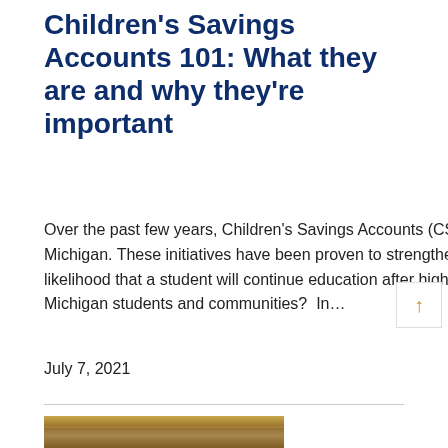Children's Savings Accounts 101: What they are and why they're important
Over the past few years, Children's Savings Accounts (CSA) programs have been increasing in popularity across Michigan. These initiatives have been proven to strengthen inter-generational financial stability and increase the likelihood that a student will continue education after high school. But what are they, exactly, and how are they helping Michigan students and communities?  In…
July 7, 2021
[Figure (photo): Partial photo of a building exterior with a person partially visible, warm golden/brown tones]